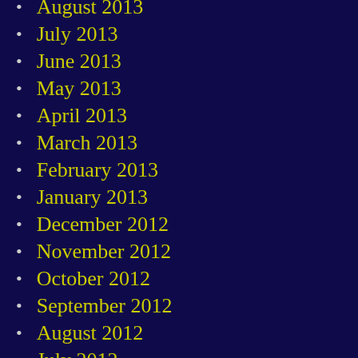August 2013
July 2013
June 2013
May 2013
April 2013
March 2013
February 2013
January 2013
December 2012
November 2012
October 2012
September 2012
August 2012
July 2012
June 2012
May 2012